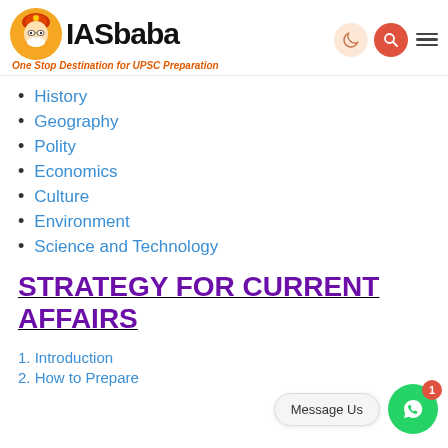IASbaba — One Stop Destination for UPSC Preparation
History
Geography
Polity
Economics
Culture
Environment
Science and Technology
STRATEGY FOR CURRENT AFFAIRS
1. Introduction
2. How to Prepare